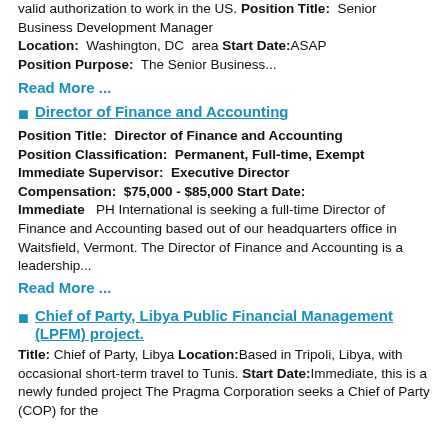valid authorization to work in the US. Position Title: Senior Business Development Manager Location: Washington, DC area Start Date:ASAP Position Purpose: The Senior Business... Read More ...
Director of Finance and Accounting
Position Title: Director of Finance and Accounting Position Classification: Permanent, Full-time, Exempt Immediate Supervisor: Executive Director Compensation: $75,000 - $85,000 Start Date: Immediate PH International is seeking a full-time Director of Finance and Accounting based out of our headquarters office in Waitsfield, Vermont. The Director of Finance and Accounting is a leadership... Read More ...
Chief of Party, Libya Public Financial Management (LPFM) project.
Title: Chief of Party, Libya Location:Based in Tripoli, Libya, with occasional short-term travel to Tunis. Start Date:Immediate, this is a newly funded project The Pragma Corporation seeks a Chief of Party (COP) for the